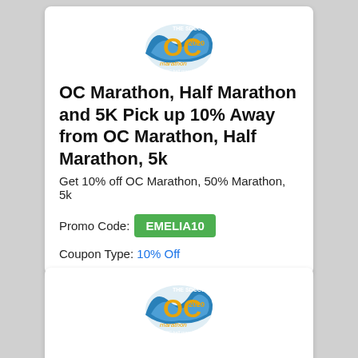[Figure (logo): OC 2020 Marathon SDCCU logo with wave graphic]
OC Marathon, Half Marathon and 5K Pick up 10% Away from OC Marathon, Half Marathon, 5k
Get 10% off OC Marathon, 50% Marathon, 5k
Promo Code: EMELIA10   Coupon Type: 10% Off
[Figure (logo): OC 2020 Marathon SDCCU logo with wave graphic (second card)]